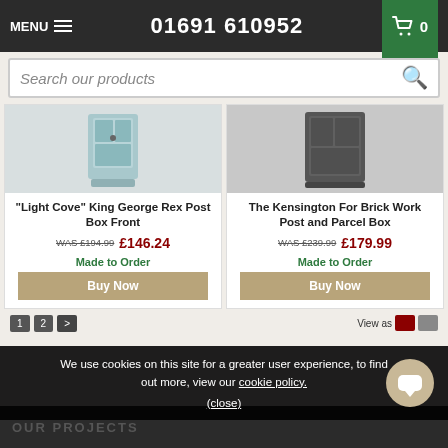MENU  01691 610952  0
Search our products
[Figure (photo): Light blue/grey post box front with keyhole lock]
"Light Cove" King George Rex Post Box Front
WAS £194.99  £146.24
Made to Order
Buy Now
[Figure (photo): Dark grey/charcoal brick post and parcel box]
The Kensington For Brick Work Post and Parcel Box
WAS £239.99  £179.99
Made to Order
Buy Now
1  2  >  View as
We use cookies on this site for a greater user experience, to find out more, view our cookie policy.  (close)
OUR PROJECTS